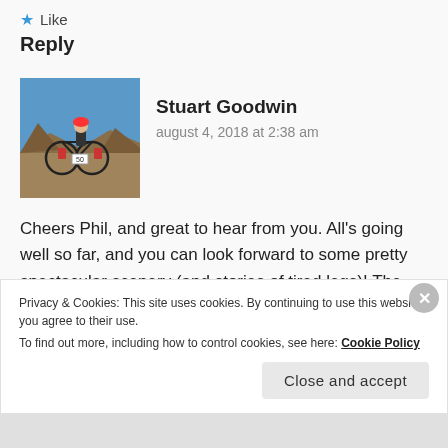Like
Reply
[Figure (photo): Profile photo of Stuart Goodwin — a person with a bicycle in a rocky desert landscape]
Stuart Goodwin
august 4, 2018 at 2:38 am
Cheers Phil, and great to hear from you. All's going well so far, and you can look forward to some pretty spectacular scenery (and stories of tired legs)! The people here are incredible – it's a different world in so many ways. Hope all well
Privacy & Cookies: This site uses cookies. By continuing to use this website, you agree to their use.
To find out more, including how to control cookies, see here: Cookie Policy
Close and accept